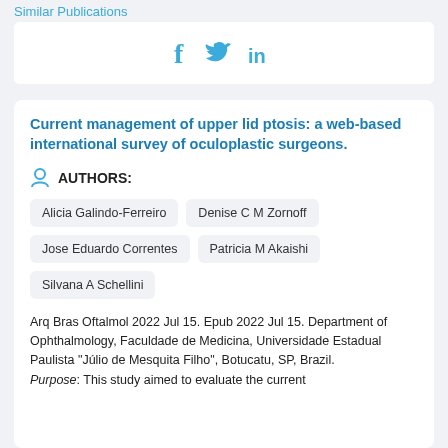Similar Publications
[Figure (other): Social share icons: Facebook (f), Twitter (bird), LinkedIn (in)]
Current management of upper lid ptosis: a web-based international survey of oculoplastic surgeons.
AUTHORS:
Alicia Galindo-Ferreiro
Denise C M Zornoff
Jose Eduardo Correntes
Patricia M Akaishi
Silvana A Schellini
Arq Bras Oftalmol 2022 Jul 15. Epub 2022 Jul 15. Department of Ophthalmology, Faculdade de Medicina, Universidade Estadual Paulista "Júlio de Mesquita Filho", Botucatu, SP, Brazil. Purpose: This study aimed to evaluate the current